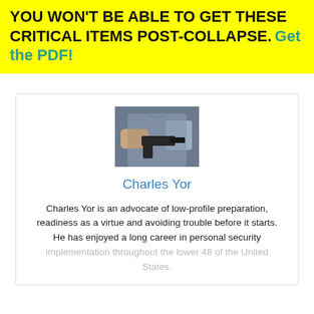YOU WON'T BE ABLE TO GET THESE CRITICAL ITEMS POST-COLLAPSE. Get the PDF!
[Figure (photo): Person in grey shirt holding a handgun, partial view of torso and hands]
Charles Yor
Charles Yor is an advocate of low-profile preparation, readiness as a virtue and avoiding trouble before it starts. He has enjoyed a long career in personal security implementation throughout the lower 48 of the United States.